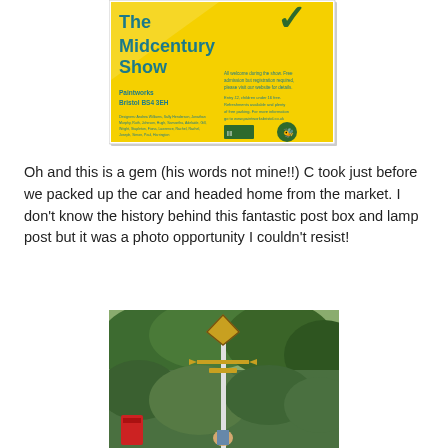[Figure (photo): The Midcentury Show poster - yellow background with teal text reading 'The Midcentury Show', 'Paintworks Bristol BS4 3EH', with sponsor logos at bottom]
Oh and this is a gem (his words not mine!!) C took just before we packed up the car and headed home from the market. I don't know the history behind this fantastic post box and lamp post but it was a photo opportunity I couldn't resist!
[Figure (photo): Photo of a decorative lamp post with diamond-shaped lantern top and arrow decoration, against a background of green trees, with a person visible at the base and a red post box nearby]